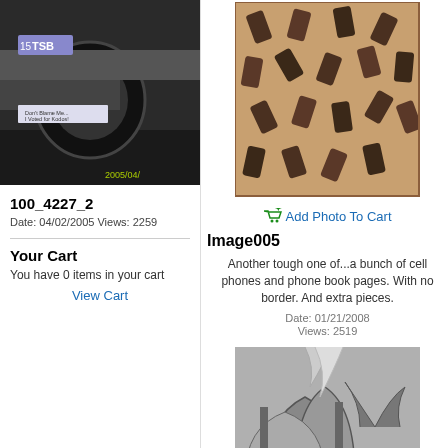[Figure (photo): Car photo showing rear of vehicle with TSB license plate, tires, and bumper sticker, dated 2005/04]
100_4227_2
Date: 04/02/2005 Views: 2259
Your Cart
You have 0 items in your cart
View Cart
[Figure (photo): Puzzle image of cell phones and phone book pages scattered on a pinkish background with no border]
Add Photo To Cart
Image005
Another tough one of...a bunch of cell phones and phone book pages. With no border. And extra pieces.
Date: 01/21/2008
Views: 2519
[Figure (photo): Black and white image of an Escher-like architectural scene with arches and palm trees, partially visible]